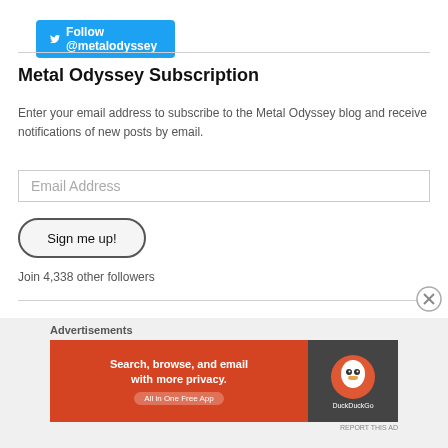[Figure (other): Twitter Follow button with bird icon reading 'Follow @metalodyssey']
Metal Odyssey Subscription
Enter your email address to subscribe to the Metal Odyssey blog and receive notifications of new posts by email.
Email Address
Sign me up!
Join 4,338 other followers
Advertisements
[Figure (other): DuckDuckGo advertisement banner: 'Search, browse, and email with more privacy. All in One Free App' with DuckDuckGo logo on dark background]